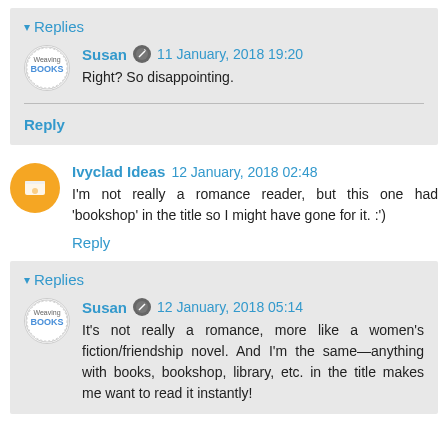Replies
Susan  11 January, 2018 19:20
Right? So disappointing.
Reply
Ivyclad Ideas  12 January, 2018 02:48
I'm not really a romance reader, but this one had 'bookshop' in the title so I might have gone for it. :')
Reply
Replies
Susan  12 January, 2018 05:14
It's not really a romance, more like a women's fiction/friendship novel. And I'm the same—anything with books, bookshop, library, etc. in the title makes me want to read it instantly!